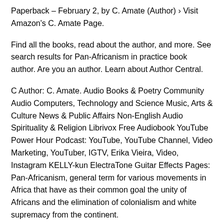Paperback – February 2, by C. Amate (Author) › Visit Amazon's C. Amate Page.
Find all the books, read about the author, and more. See search results for Pan-Africanism in practice book author. Are you an author. Learn about Author Central.
C Author: C. Amate. Audio Books & Poetry Community Audio Computers, Technology and Science Music, Arts & Culture News & Public Affairs Non-English Audio Spirituality & Religion Librivox Free Audiobook YouTube Power Hour Podcast: YouTube, YouTube Channel, Video Marketing, YouTuber, IGTV, Erika Vieira, Video, Instagram KELLY-kun ElectraTone Guitar Effects Pages: Pan-Africanism, general term for various movements in Africa that have as their common goal the unity of Africans and the elimination of colonialism and white supremacy from the continent.
However, on the scope and meaning of Pan-Africanism, including such matters as leadership, Pan-Africanism in practice book orientation, and national as opposed to regional interests, they are